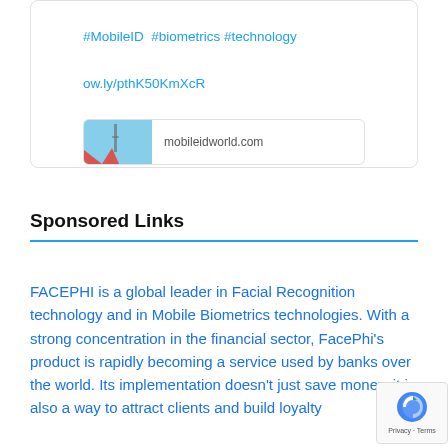[Figure (screenshot): Social media post card with hashtags #MobileID #biometrics #technology, a shortened URL ow.ly/pthK50KmXcR, and a link preview bar showing mobileidworld.com with a partial image thumbnail]
Sponsored Links
FACEPHI is a global leader in Facial Recognition technology and in Mobile Biometrics technologies. With a strong concentration in the financial sector, FacePhi's product is rapidly becoming a service used by banks over the world. Its implementation doesn't just save money, it is also a way to attract clients and build loyalty